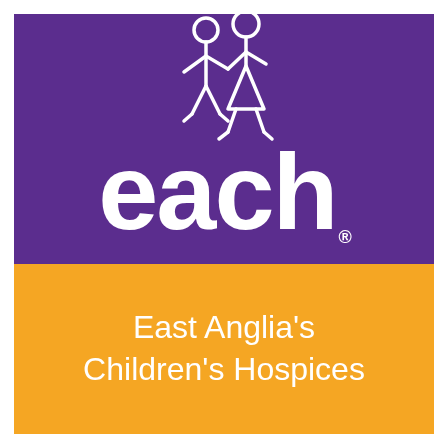[Figure (logo): EACH logo — East Anglia's Children's Hospices. Purple upper half with two white stick figures (child and adult/taller figure holding hands) above large white 'each.' text with registered trademark symbol. Orange lower half with white text reading 'East Anglia's Children's Hospices'.]